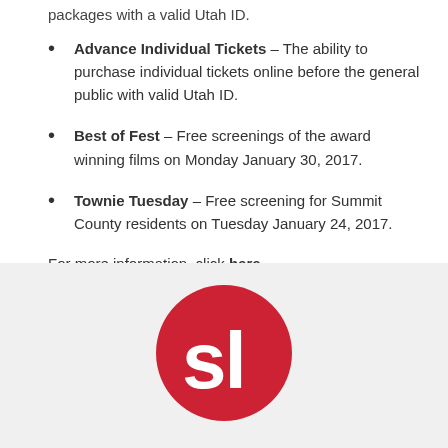packages with a valid Utah ID.
Advance Individual Tickets – The ability to purchase individual tickets online before the general public with valid Utah ID.
Best of Fest – Free screenings of the award winning films on Monday January 30, 2017.
Townie Tuesday – Free screening for Summit County residents on Tuesday January 24, 2017.
For more information, click here.
[Figure (logo): SL logo – red circle with white 'sl' letters on a light gray background]